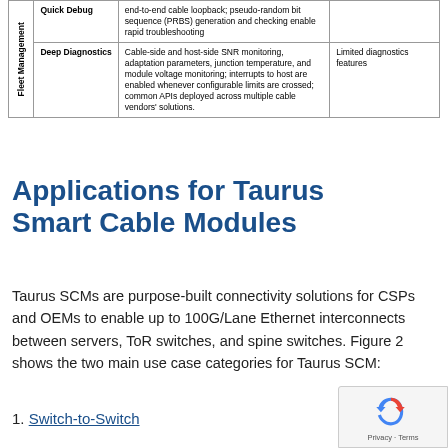| Category | Feature | Description | Limitation |
| --- | --- | --- | --- |
| Fleet Management | Quick Debug | end-to-end cable loopback; pseudo-random bit sequence (PRBS) generation and checking enable rapid troubleshooting |  |
| Fleet Management | Deep Diagnostics | Cable-side and host-side SNR monitoring, adaptation parameters, junction temperature, and module voltage monitoring; interrupts to host are enabled whenever configurable limits are crossed; common APIs deployed across multiple cable vendors' solutions. | Limited diagnostics features |
Applications for Taurus Smart Cable Modules
Taurus SCMs are purpose-built connectivity solutions for CSPs and OEMs to enable up to 100G/Lane Ethernet interconnects between servers, ToR switches, and spine switches. Figure 2 shows the two main use case categories for Taurus SCM:
1. Switch-to-Switch